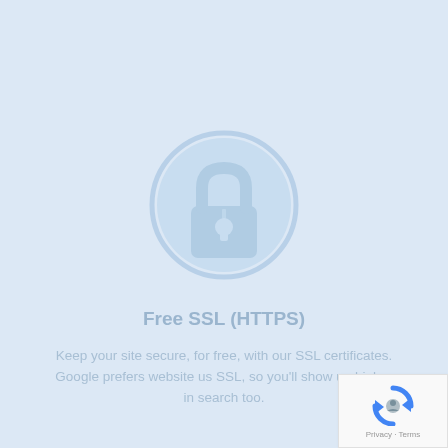[Figure (illustration): A light blue padlock icon centered on a light blue background, representing SSL/HTTPS security.]
Free SSL (HTTPS)
Keep your site secure, for free, with our SSL certificates. Google prefers website us SSL, so you'll show up higher in search too.
[Figure (logo): Google reCAPTCHA widget in the bottom-right corner showing the reCAPTCHA logo and Privacy - Terms links.]